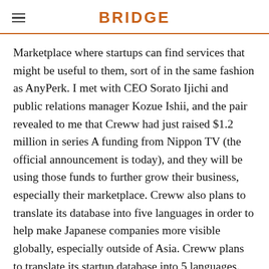BRIDGE
Marketplace where startups can find services that might be useful to them, sort of in the same fashion as AnyPerk. I met with CEO Sorato Ijichi and public relations manager Kozue Ishii, and the pair revealed to me that Creww had just raised $1.2 million in series A funding from Nippon TV (the official announcement is today), and they will be using those funds to further grow their business, especially their marketplace. Creww also plans to translate its database into five languages in order to help make Japanese companies more visible globally, especially outside of Asia. Creww plans to translate its startup database into 5 languages. They'll be hiring new staff, including engineers and marketers, and